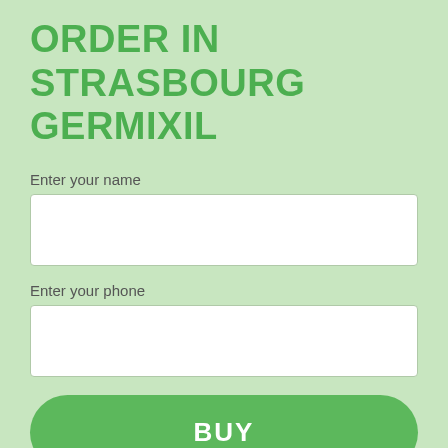ORDER IN STRASBOURG GERMIXIL
Enter your name
Enter your phone
BUY